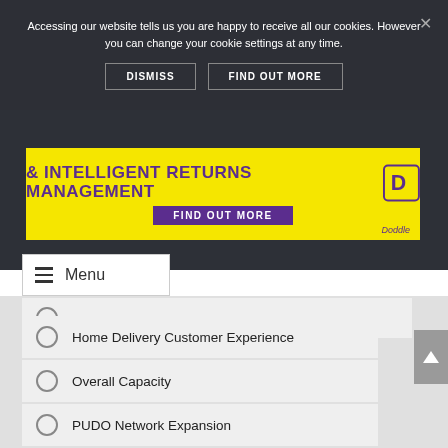Accessing our website tells us you are happy to receive all our cookies. However you can change your cookie settings at any time.
DISMISS
FIND OUT MORE
[Figure (infographic): Yellow advertisement banner for Doddle: '& INTELLIGENT RETURNS MANAGEMENT' with a purple 'FIND OUT MORE' button and Doddle logo]
Menu
Home Delivery Customer Experience
Overall Capacity
PUDO Network Expansion
Consumer PUDO Adoption
PUDO Customer Experience